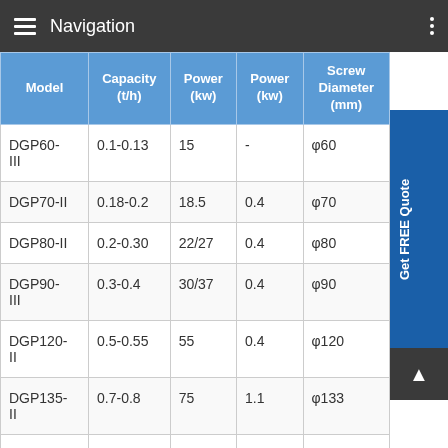Navigation
| Model | Capacity (t/h) | Power (kw) | Power (kw) | Screw Diameter (mm) |
| --- | --- | --- | --- | --- |
| DGP60-III | 0.1-0.13 | 15 | - | φ60 |
| DGP70-II | 0.18-0.2 | 18.5 | 0.4 | φ70 |
| DGP80-II | 0.2-0.30 | 22/27 | 0.4 | φ80 |
| DGP90-III | 0.3-0.4 | 30/37 | 0.4 | φ90 |
| DGP120-II | 0.5-0.55 | 55 | 0.4 | φ120 |
| DGP135-II | 0.7-0.8 | 75 | 1.1 | φ133 |
| DGP160-II | 1-1.2 | 90 | 1.5 | φ155 |